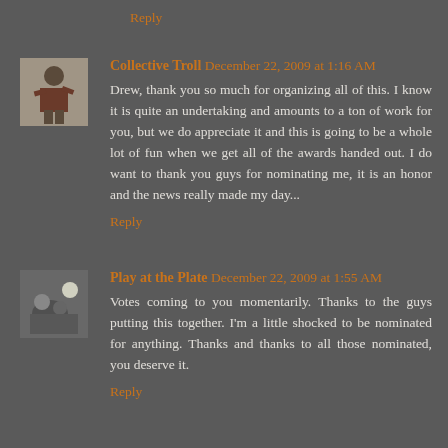Reply
Collective Troll  December 22, 2009 at 1:16 AM
Drew, thank you so much for organizing all of this. I know it is quite an undertaking and amounts to a ton of work for you, but we do appreciate it and this is going to be a whole lot of fun when we get all of the awards handed out. I do want to thank you guys for nominating me, it is an honor and the news really made my day...
Reply
Play at the Plate  December 22, 2009 at 1:55 AM
Votes coming to you momentarily. Thanks to the guys putting this together. I'm a little shocked to be nominated for anything. Thanks and thanks to all those nominated, you deserve it.
Reply